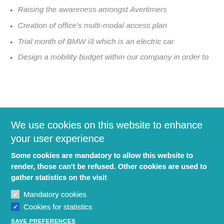Raising the awareness amongst Avertimers
Creation of office's multi-modal access plan
Trial month of BMW i3 which is an electric car
Design a mobility budget within our company in order to
We use cookies on this website to enhance your user experience
Some cookies are mandatory to allow this website to render, those can't be refused. Other cookies are used to gather statistics on the visit
Mandatory cookies
Cookies for statistics
SAVE PREFERENCES
Accept all cookies